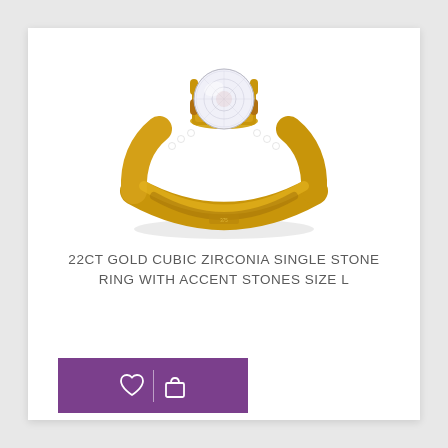[Figure (photo): A gold solitaire ring with a large round cubic zirconia center stone set in a four-prong gold setting, with small accent stones along the band shoulders. The ring is photographed from a front-top angle against a white background.]
22CT GOLD CUBIC ZIRCONIA SINGLE STONE RING WITH ACCENT STONES SIZE L
[Figure (other): Purple action bar with heart (wishlist) icon and shopping bag icon separated by a vertical divider line.]